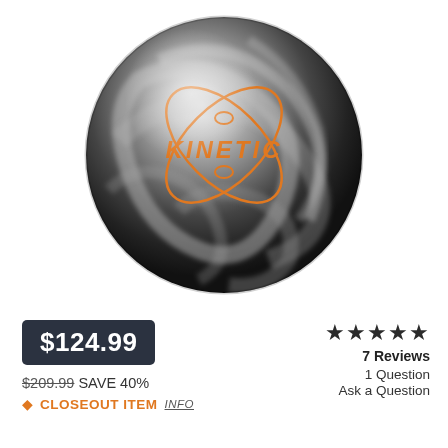[Figure (photo): Bowling ball with dark gray/silver marbled surface and orange 'KINETIC' branding logo in the center]
$124.99
$209.99 SAVE 40%
CLOSEOUT ITEM  INFO
★★★★★
7 Reviews
1 Question
Ask a Question